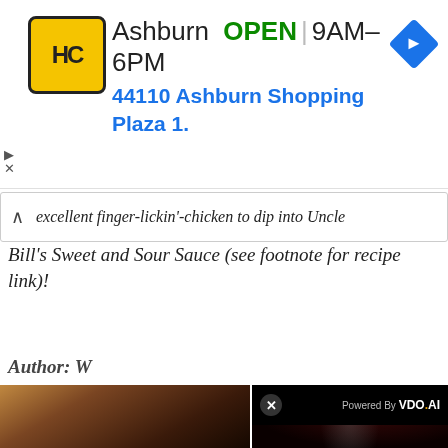[Figure (screenshot): Advertisement banner for Hard Cuts (HC) store in Ashburn showing logo, OPEN status, hours 9AM-6PM, address 44110 Ashburn Shopping Plaza 1., and navigation arrow icon]
excellent finger-lickin'-chicken to dip into Uncle Bill's Sweet and Sour Sauce (see footnote for recipe link)!
Author: W
[Figure (screenshot): VDO.AI video player overlay showing 'No compatible source was found for this media.' with 'IMMUNE SYSTEM HOW IT ACTUALLY WORKS' title visible in the background]